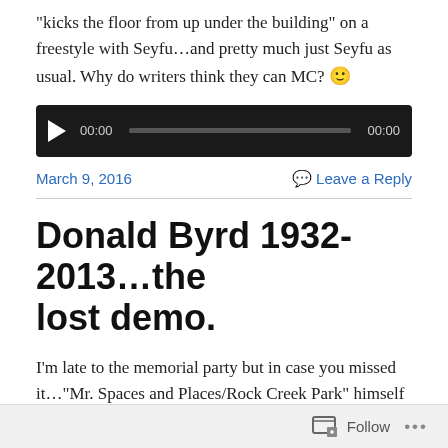“kicks the floor from up under the building” on a freestyle with Seyfu…and pretty much just Seyfu as usual. Why do writers think they can MC? 🙂
[Figure (other): Audio player widget with play button, progress bar, and time display showing 00:00 on both sides]
March 9, 2016    Leave a Reply
Donald Byrd 1932-2013…the lost demo.
I’m late to the memorial party but in case you missed it…“Mr. Spaces and Places/Rock Creek Park” himself moved on about 3 weeks ago to that eternal jazz combo on the other side. In 1996/97 the Poisoned Ivy crew had
Follow …